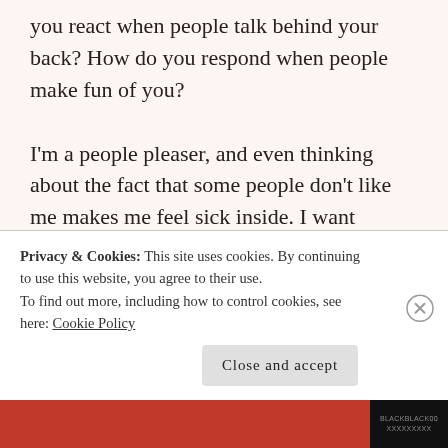you react when people talk behind your back? How do you respond when people make fun of you?

I'm a people pleaser, and even thinking about the fact that some people don't like me makes me feel sick inside. I want everyone to like me. I want every person I meet to feel better because they've met me. But while that's a great goal to strive for, not everyone is going to feel that way. I'm going to rub some people the wrong way. Some people will misunderstand me. And it won't be because of anything I've done, necessarily, but their reaction to
Privacy & Cookies: This site uses cookies. By continuing to use this website, you agree to their use.
To find out more, including how to control cookies, see here: Cookie Policy
Close and accept